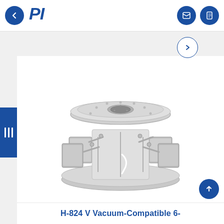PI
[Figure (photo): H-824 V Vacuum-Compatible 6-axis hexapod parallel kinematic positioning system, shown as a silver/aluminum mechanical device with circular top platform with center hole, six actuator legs with motor blocks arranged in a hexapod configuration, on a circular base plate.]
H-824 V Vacuum-Compatible 6-